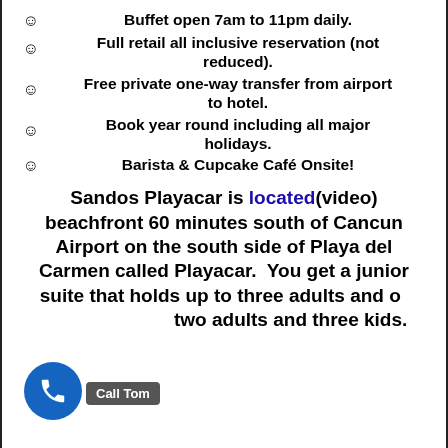😊 Buffet open 7am to 11pm daily.
😊 Full retail all inclusive reservation (not reduced).
😊 Free private one-way transfer from airport to hotel.
😊 Book year round including all major holidays.
😊 Barista & Cupcake Café Onsite!
Sandos Playacar is located(video) beachfront 60 minutes south of Cancun Airport on the south side of Playa del Carmen called Playacar.  You get a junior suite that holds up to three adults and or kids or two adults and three kids.